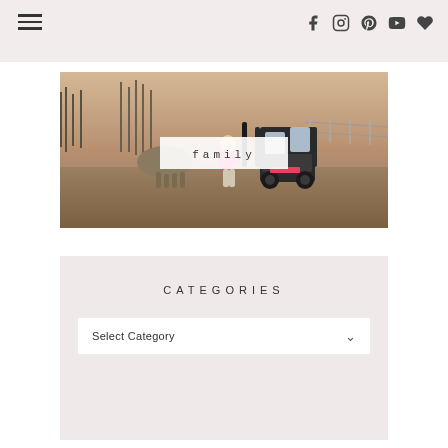Navigation header with hamburger menu and social icons (Facebook, Instagram, Pinterest, YouTube, Heart/Favorites)
[Figure (photo): Outdoor farm scene at dusk with a horse, a young child in a pink jacket, and a double baby stroller with car seats. Trees visible in background. White overlay box with text 'family' centered on the image.]
CATEGORIES
Select Category